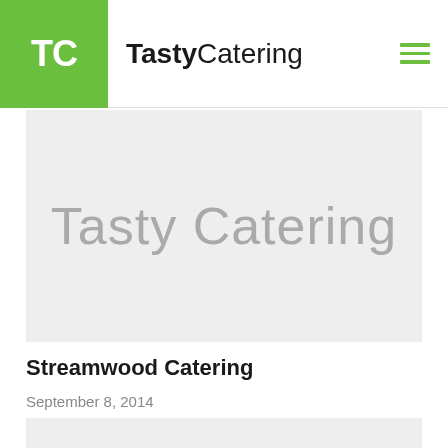TC TastyCatering
[Figure (illustration): Grey hero banner with large light grey text 'Tasty Catering']
Streamwood Catering
September 8, 2014
[Figure (illustration): Grey image placeholder at bottom of page]